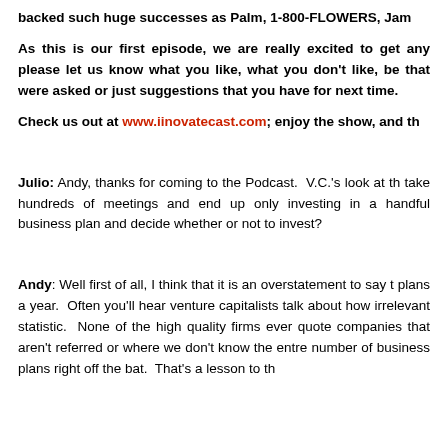backed such huge successes as Palm, 1-800-FLOWERS, Jam...
As this is our first episode, we are really excited to get any please let us know what you like, what you don't like, be that were asked or just suggestions that you have for next time.
Check us out at www.iinovatecast.com; enjoy the show, and th...
Julio: Andy, thanks for coming to the Podcast. V.C.'s look at the take hundreds of meetings and end up only investing in a handful business plan and decide whether or not to invest?
Andy: Well first of all, I think that it is an overstatement to say t plans a year. Often you'll hear venture capitalists talk about how irrelevant statistic. None of the high quality firms ever quote companies that aren't referred or where we don't know the entre number of business plans right off the bat. That's a lesson to the...